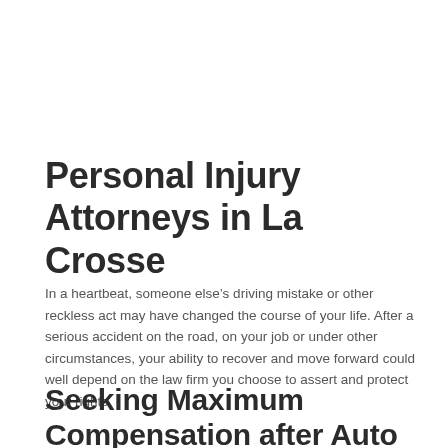Personal Injury Attorneys in La Crosse
In a heartbeat, someone else’s driving mistake or other reckless act may have changed the course of your life. After a serious accident on the road, on your job or under other circumstances, your ability to recover and move forward could well depend on the law firm you choose to assert and protect your rights.
Seeking Maximum Compensation after Auto Accidents and Injuries